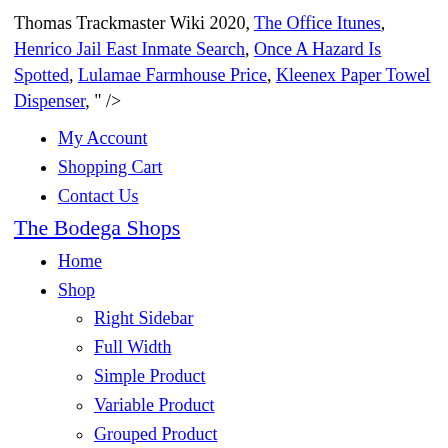Thomas Trackmaster Wiki 2020, The Office Itunes, Henrico Jail East Inmate Search, Once A Hazard Is Spotted, Lulamae Farmhouse Price, Kleenex Paper Towel Dispenser, " />
My Account
Shopping Cart
Contact Us
The Bodega Shops
Home
Shop
Right Sidebar
Full Width
Simple Product
Variable Product
Grouped Product
External Product
Women
Dresses
Jackets
Tops
Shorts
Jumper
Coats